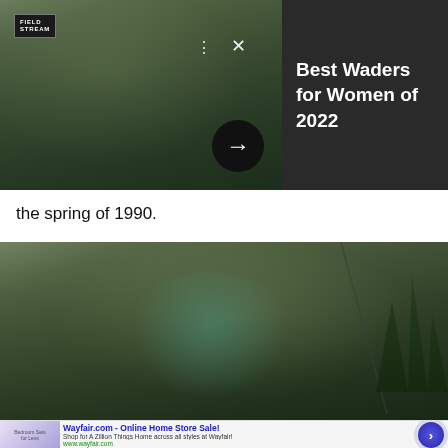[Figure (photo): Field & Stream advertisement overlay showing a woman fly fishing near rocky cliffs with trees in background. Has Field Stream logo, dots menu, X close button, and a black circular arrow button. Right side has dark gray panel with text 'Best Waders for Women of 2022'.]
Best Waders for Women of 2022
the spring of 1990.
[Figure (photo): Woman fly fishing with rod and net, wearing teal jacket and hat, near rocky cliff with evergreen trees in background.]
[Figure (infographic): Wayfair.com advertisement banner. Title: Wayfair.com - Online Home Store Sale! Body: Shop for A Zillion Things Home across all styles at Wayfair! URL: www.wayfair.com. Shows purple/blue circular button with right arrow.]